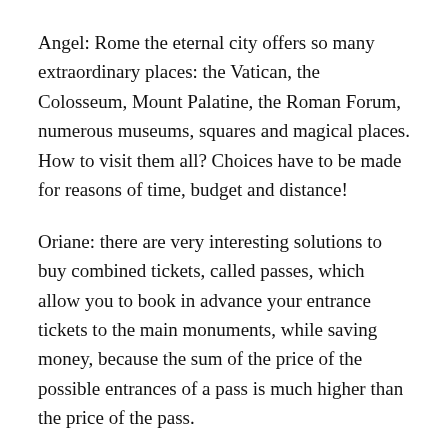Angel: Rome the eternal city offers so many extraordinary places: the Vatican, the Colosseum, Mount Palatine, the Roman Forum, numerous museums, squares and magical places. How to visit them all? Choices have to be made for reasons of time, budget and distance!
Oriane: there are very interesting solutions to buy combined tickets, called passes, which allow you to book in advance your entrance tickets to the main monuments, while saving money, because the sum of the price of the possible entrances of a pass is much higher than the price of the pass.
Angel : Yes but there are so many Passes to Rome that it's also hard to choose!